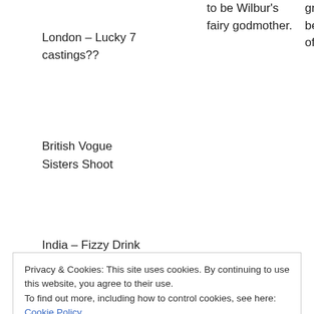London – Lucky 7 castings??
to be Wilbur's fairy godmother.
great f being a of her.
British Vogue Sisters Shoot
India – Fizzy Drink
Privacy & Cookies: This site uses cookies. By continuing to use this website, you agree to their use.
To find out more, including how to control cookies, see here: Cookie Policy
Close and accept